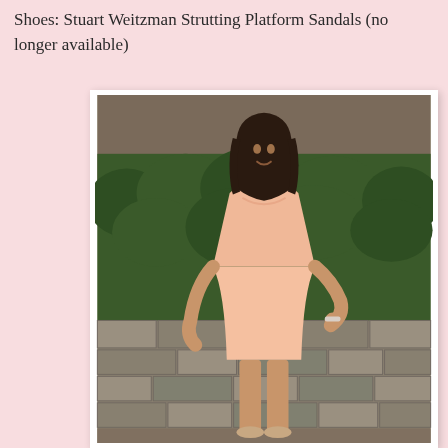Shoes: Stuart Weitzman Strutting Platform Sandals (no longer available)
[Figure (photo): A woman with long dark hair wearing a sleeveless peach/blush A-line dress, standing outdoors in front of a green shrub hedge and a stone wall. She has one hand on her hip and is smiling.]